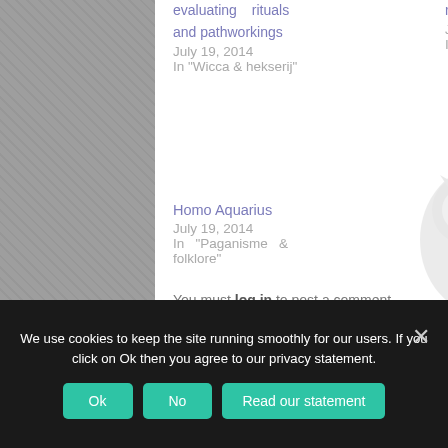evaluating rituals and pathworkings
July 19, 2014
In "Wicca & hekserij"
rituals
July 19, 2014
In "Wicca & hekserij"
Homo Aquarius
July 19, 2014
In "Paganisme & folklore"
You must log in to post a comment.
We use cookies to keep the site running smoothly for our users. If you click on Ok then you agree to our privacy statement.